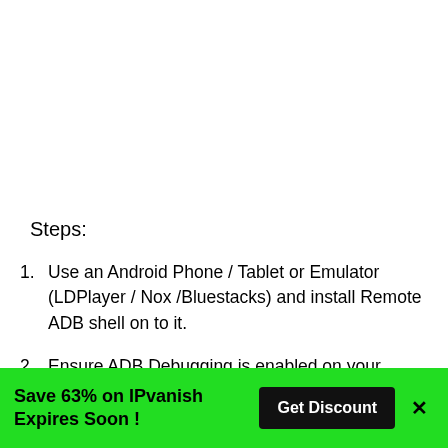Steps:
Use an Android Phone / Tablet or Emulator (LDPlayer / Nox /Bluestacks) and install Remote ADB shell on to it.
Ensure ADB Debugging is enabled on your Firestick / FireTV and launch Remote ADB Shell on the Android device (my example was done on an android emulator)
Save 63% on IPvanish Expires Soon !
Get Discount